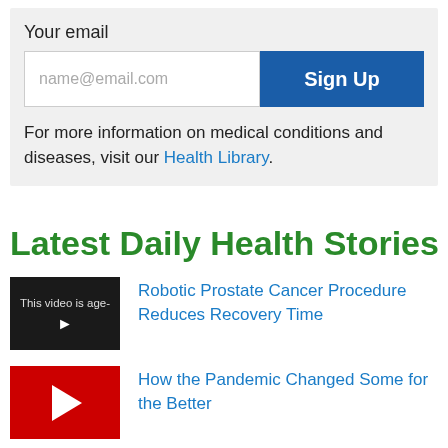Your email
name@email.com
Sign Up
For more information on medical conditions and diseases, visit our Health Library.
Latest Daily Health Stories
[Figure (screenshot): Video thumbnail showing 'This video is age-' with play icon, dark background]
Robotic Prostate Cancer Procedure Reduces Recovery Time
[Figure (screenshot): YouTube video thumbnail with red background and white play triangle]
How the Pandemic Changed Some for the Better
[Figure (screenshot): YouTube video thumbnail with red background, partially visible at bottom of page]